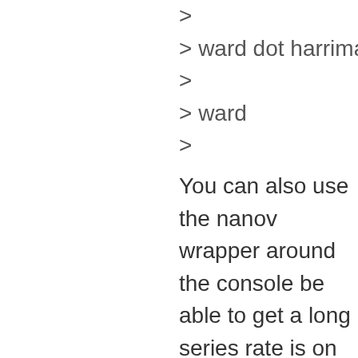>
> ward dot harriman at gma
>
> ward
>
You can also use the nanov wrapper around the console be able to get a long series rate is on the order of 100s isn't really set up for the equ span" function.
What you might be able to d small number (I can't remem repeatedly do sweeps.
You might also be able to us the nanovna from the conso limited by the program that s